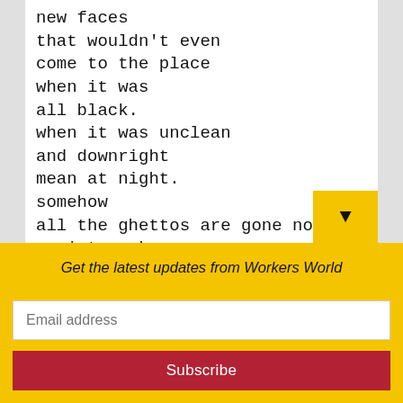new faces
that wouldn't even
come to the place
when it was
all black.
when it was unclean
and downright
mean at night.
somehow
all the ghettos are gone now.
quaint parks
and pleasant
Get the latest updates from Workers World
Email address
Subscribe